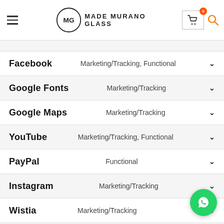Made Murano Glass - navigation bar with logo, cart, and search
Facebook - Marketing/Tracking, Functional
Google Fonts - Marketing/Tracking
Google Maps - Marketing/Tracking
YouTube - Marketing/Tracking, Functional
PayPal - Functional
Instagram - Marketing/Tracking
Wistia - Marketing/Tracking
WhatsApp - Functional